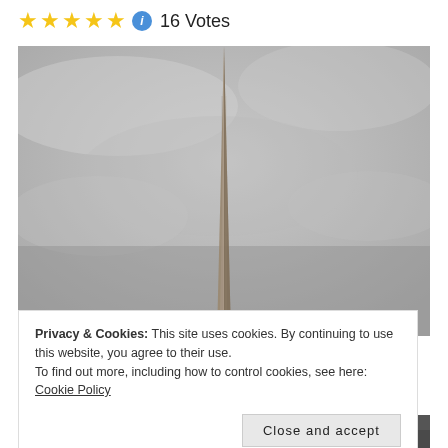★★★★★ ℹ 16 Votes
[Figure (photo): Tall thin spire or monument photographed from below against an overcast gray sky. The structure tapers to a point at the top and appears to be made of metal or concrete.]
Privacy & Cookies: This site uses cookies. By continuing to use this website, you agree to their use.
To find out more, including how to control cookies, see here: Cookie Policy
Close and accept
[Figure (photo): Bottom portion of another photograph showing the base of a structure, partially visible at the bottom of the page.]